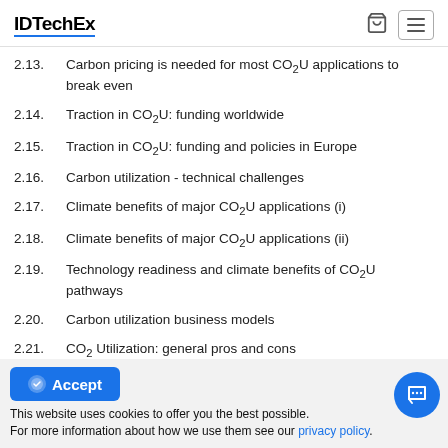IDTechEx
2.13. Carbon pricing is needed for most CO₂U applications to break even
2.14. Traction in CO₂U: funding worldwide
2.15. Traction in CO₂U: funding and policies in Europe
2.16. Carbon utilization - technical challenges
2.17. Climate benefits of major CO₂U applications (i)
2.18. Climate benefits of major CO₂U applications (ii)
2.19. Technology readiness and climate benefits of CO₂U pathways
2.20. Carbon utilization business models
2.21. CO₂ Utilization: general pros and cons
This website uses cookies to offer you the best possible. For more information about how we use them see our privacy policy.